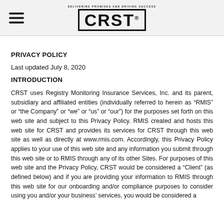CRST — DELIVERING PROMISES AND DRIVING SUCCESS
PRIVACY POLICY
Last updated July 8, 2020
INTRODUCTION
CRST uses Registry Monitoring Insurance Services, Inc. and its parent, subsidiary and affiliated entities (individually referred to herein as “RMIS” or “the Company” or “we” or “us” or “our”) for the purposes set forth on this web site and subject to this Privacy Policy. RMIS created and hosts this web site for CRST and provides its services for CRST through this web site as well as directly at www.rmis.com. Accordingly, this Privacy Policy applies to your use of this web site and any information you submit through this web site or to RMIS through any of its other Sites. For purposes of this web site and the Privacy Policy, CRST would be considered a “Client” (as defined below) and if you are providing your information to RMIS through this web site for our onboarding and/or compliance purposes to consider using you and/or your business’ services, you would be considered a